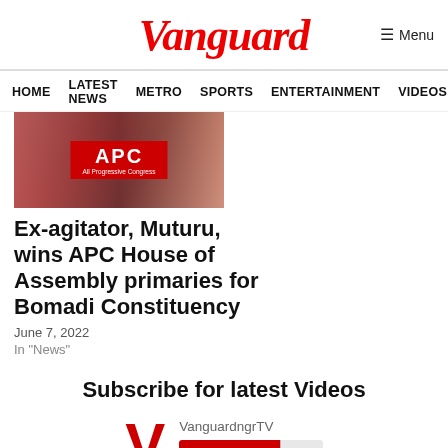Vanguard
Menu
HOME LATEST NEWS METRO SPORTS ENTERTAINMENT VIDEOS
[Figure (photo): Image showing people with APC (All Progressive Congress) banner/logo]
Ex-agitator, Muturu, wins APC House of Assembly primaries for Bomadi Constituency
June 7, 2022
In "News"
Subscribe for latest Videos
[Figure (logo): Vanguard V logo in red]
VanguardngrTV
YouTube 7K